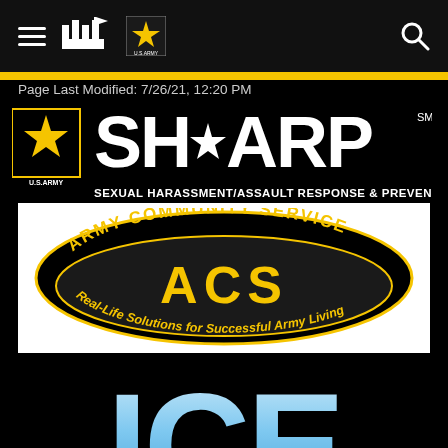[Figure (screenshot): U.S. Army website navigation bar with hamburger menu, fort/building icon, U.S. Army star logo, and search icon on black background]
Page Last Modified: 7/26/21, 12:20 PM
[Figure (logo): U.S. Army SHARP (Sexual Harassment/Assault Response & Prevention) logo with star emblem and service mark]
[Figure (logo): Army Community Service (ACS) logo — black oval with yellow text 'ARMY COMMUNITY SERVICE', large yellow 'ACS' letters, and tagline 'Real-Life Solutions for Successful Army Living']
[Figure (logo): ICE (Interactive Customer Evaluation) large light-blue block letters on black background]